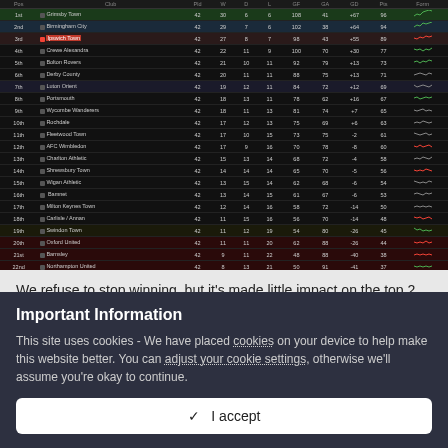[Figure (screenshot): Football Manager league table screenshot showing 24 teams with columns for position, team name, played, won, drawn, lost, GF, GA, GD, points, and form sparklines. Top teams appear in green/blue highlights, bottom teams in red/dark red relegation zone.]
We refuse to stop winning, but it's made little impact on the top 2. At
Important Information
This site uses cookies - We have placed cookies on your device to help make this website better. You can adjust your cookie settings, otherwise we'll assume you're okay to continue.
✓  I accept